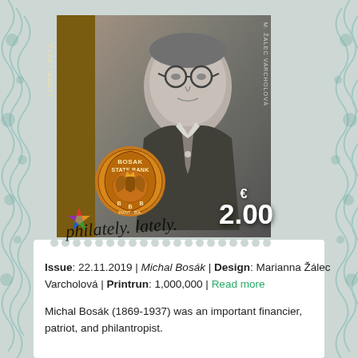[Figure (illustration): Postage stamp from Slovakia featuring Michal Bosák (1869-1937). The stamp shows a black and white portrait of Michal Bosák wearing glasses and a suit with tie. The left side has a brown vertical bar with 'MICHAL B...' and '(1869-1937)' text. A Bosak State Bank circular logo is in the lower left of the stamp. The denomination is €2.00 in white text. Designer credit 'M. ŽALEC VARCH' appears vertically on the right. A colorful star logo and 'philately. lately.' watermark text overlay the bottom of the stamp. The stamp has perforated edges. The background shows a teal decorative pattern.]
Issue: 22.11.2019 | Michal Bosák | Design: Marianna Žálec Varcholová | Printrun: 1,000,000 | Read more
Michal Bosák (1869-1937) was an important financier, patriot, and philantropist.